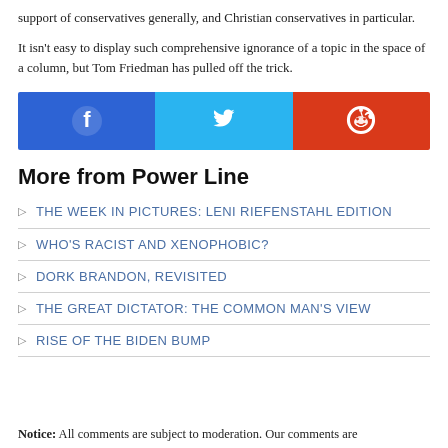support of conservatives generally, and Christian conservatives in particular.
It isn't easy to display such comprehensive ignorance of a topic in the space of a column, but Tom Friedman has pulled off the trick.
[Figure (infographic): Social share buttons: Facebook (blue), Twitter (light blue), Reddit (red-orange)]
More from Power Line
THE WEEK IN PICTURES: LENI RIEFENSTAHL EDITION
WHO'S RACIST AND XENOPHOBIC?
DORK BRANDON, REVISITED
THE GREAT DICTATOR: THE COMMON MAN'S VIEW
RISE OF THE BIDEN BUMP
Notice: All comments are subject to moderation. Our comments are